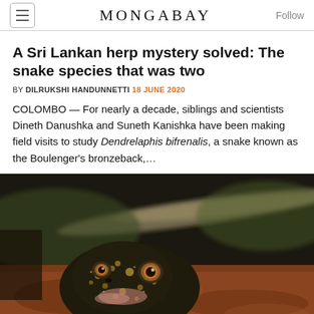MONGABAY
A Sri Lankan herp mystery solved: The snake species that was two
BY DILRUKSHI HANDUNNETTI 18 JUNE 2020
COLOMBO — For nearly a decade, siblings and scientists Dineth Danushka and Suneth Kanishka have been making field visits to study Dendrelaphis bifrenalis, a snake known as the Boulenger's bronzeback,...
[Figure (photo): Close-up photograph of a frog or small reptile with mottled dark and gold patterning, large eyes, resting on a reddish-brown rocky surface. A snake or lizard tail is visible blurred in the background.]